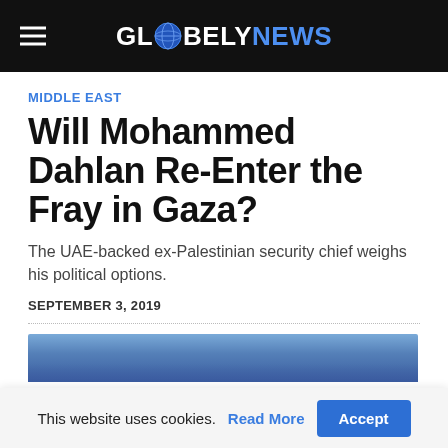GLOBELY NEWS
MIDDLE EAST
Will Mohammed Dahlan Re-Enter the Fray in Gaza?
The UAE-backed ex-Palestinian security chief weighs his political options.
SEPTEMBER 3, 2019
[Figure (photo): Partial view of a blue-toned photo, cropped at bottom of page]
This website uses cookies. Read More Accept